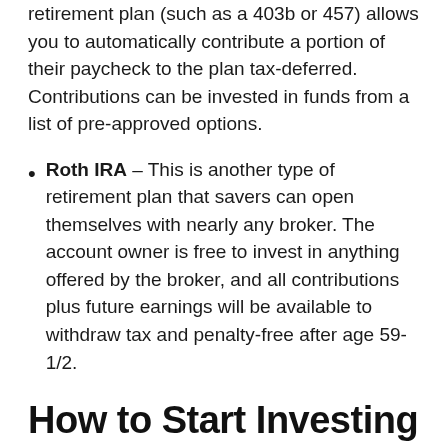retirement plan (such as a 403b or 457) allows you to automatically contribute a portion of their paycheck to the plan tax-deferred. Contributions can be invested in funds from a list of pre-approved options.
Roth IRA – This is another type of retirement plan that savers can open themselves with nearly any broker. The account owner is free to invest in anything offered by the broker, and all contributions plus future earnings will be available to withdraw tax and penalty-free after age 59-1/2.
How to Start Investing as a Beginner